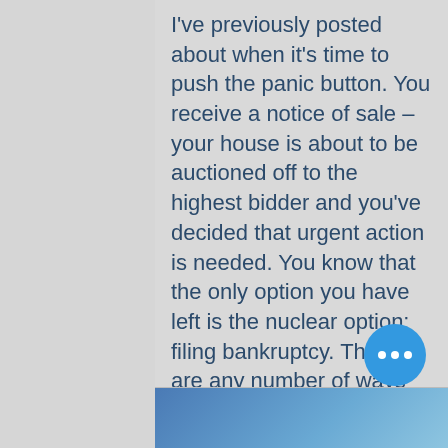I've previously posted about when it's time to push the panic button. You receive a notice of sale – your house is about to be auctioned off to the highest bidder and you've decided that urgent action is needed. You know that the only option you have left is the nuclear option: filing bankruptcy. There are any number of ways that you got to this point, but none of those reasons matter at this point. You have to declare bankruptcy and you have to do it NOW. People never pla